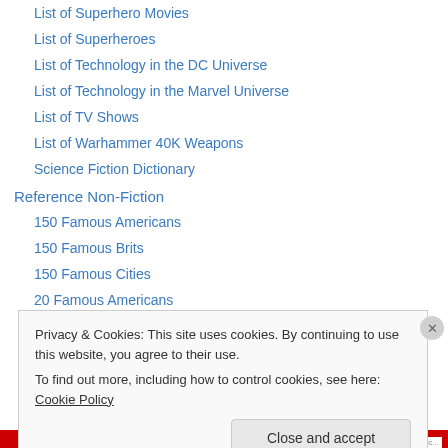List of Superhero Movies
List of Superheroes
List of Technology in the DC Universe
List of Technology in the Marvel Universe
List of TV Shows
List of Warhammer 40K Weapons
Science Fiction Dictionary
Reference Non-Fiction
150 Famous Americans
150 Famous Brits
150 Famous Cities
20 Famous Americans
20 Famous Brits
Privacy & Cookies: This site uses cookies. By continuing to use this website, you agree to their use.
To find out more, including how to control cookies, see here: Cookie Policy
Close and accept